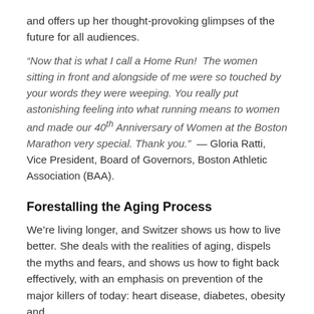and offers up her thought-provoking glimpses of the future for all audiences.
“Now that is what I call a Home Run!  The women sitting in front and alongside of me were so touched by your words they were weeping. You really put astonishing feeling into what running means to women and made our 40th Anniversary of Women at the Boston Marathon very special. Thank you.” — Gloria Ratti, Vice President, Board of Governors, Boston Athletic Association (BAA).
Forestalling the Aging Process
We’re living longer, and Switzer shows us how to live better. She deals with the realities of aging, dispels the myths and fears, and shows us how to fight back effectively, with an emphasis on prevention of the major killers of today: heart disease, diabetes, obesity and